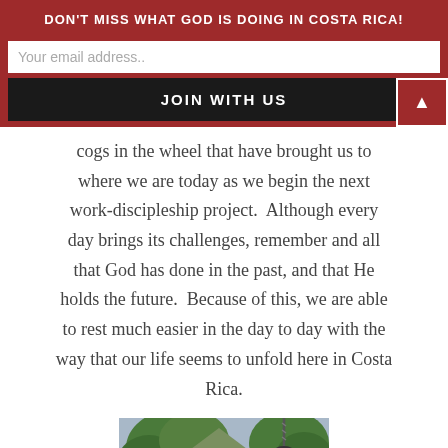DON'T MISS WHAT GOD IS DOING IN COSTA RICA!
Your email address..
JOIN WITH US
cogs in the wheel that have brought us to where we are today as we begin the next work-discipleship project.  Although every day brings its challenges, remember and all that God has done in the past, and that He holds the future.  Because of this, we are able to rest much easier in the day to day with the way that our life seems to unfold here in Costa Rica.
[Figure (photo): Outdoor photo of a person wearing a cap standing near trees, with a large dark metallic object (possibly a bell or vessel) hanging from a chain in the foreground.]